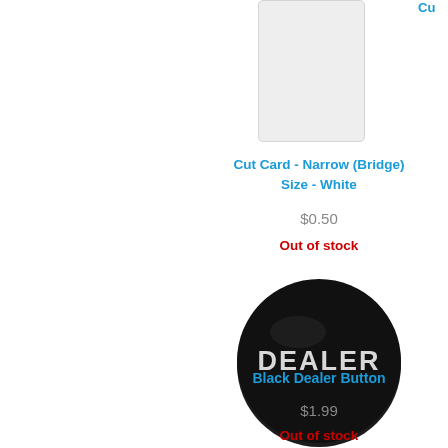[Figure (photo): Partial white cut card (playing card sized) shown at top of page, cropped]
Cut Card - Narrow (Bridge) Size - White
$0.50
Out of stock
[Figure (photo): Black circular dealer button with white text reading DEALER]
Black Dealer Button
$1.99
Out of stock